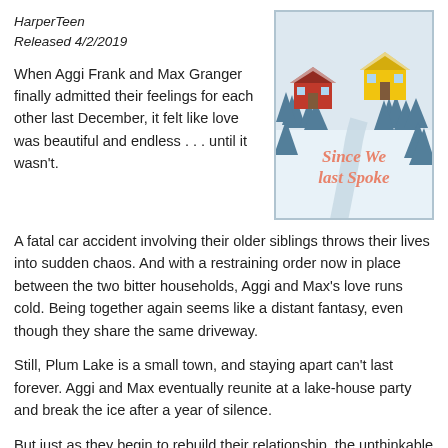HarperTeen
Released 4/2/2019
[Figure (illustration): Book cover of 'Since We Last Spoke' showing an aerial winter scene with two houses (red and yellow) connected by a snowy path, surrounded by blue pine trees, with the title in orange cursive script.]
When Aggi Frank and Max Granger finally admitted their feelings for each other last December, it felt like love was beautiful and endless . . . until it wasn't.
A fatal car accident involving their older siblings throws their lives into sudden chaos. And with a restraining order now in place between the two bitter households, Aggi and Max's love runs cold. Being together again seems like a distant fantasy, even though they share the same driveway.
Still, Plum Lake is a small town, and staying apart can't last forever. Aggi and Max eventually reunite at a lake-house party and break the ice after a year of silence.
But just as they begin to rebuild their relationship, the unthinkable happens, leading them to confront each other